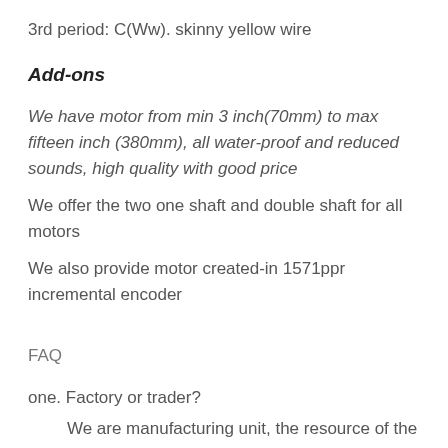3rd period:  C(Ww).  skinny yellow wire
Add-ons
We have motor from min 3 inch(70mm) to max fifteen inch (380mm), all water-proof and reduced sounds, high quality with good price
We offer the two one shaft and double shaft for all motors
We also provide motor created-in 1571ppr incremental encoder
FAQ
one. Factory or trader?
We are manufacturing unit, the resource of the provide chain.
two. Hub motor Shipping time?
Sample: 5 days. Bulk order: 7-twenty five times.